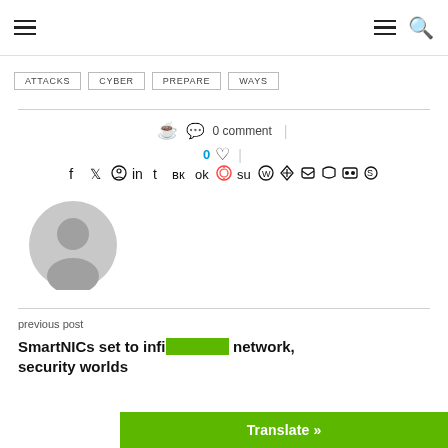Navigation header with hamburger menu and search icon
ATTACKS
CYBER
PREPARE
WAYS
0 comment
0 (likes) heart icon
[Figure (infographic): Social media share icons row: facebook, twitter, pinterest, linkedin, tumblr, vk, odnoklassniki, reddit, stumbleupon, whatsapp, telegram, messenger, pocket, skype, viber, email]
[Figure (photo): Generic user avatar - grey circle with silhouette of a person]
previous post
SmartNICs set to infiltrate the network, security worlds
Translate »